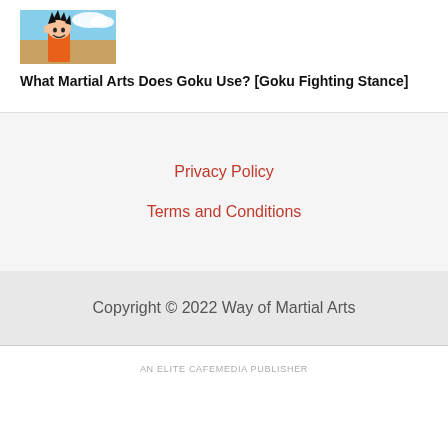[Figure (illustration): Anime illustration of young Goku from Dragon Ball, smiling, with spiky black hair, wearing an orange outfit, with blue sky background]
What Martial Arts Does Goku Use? [Goku Fighting Stance]
Privacy Policy
Terms and Conditions
Copyright © 2022 Way of Martial Arts
AN ELITE CAFEMEDIA PUBLISHER